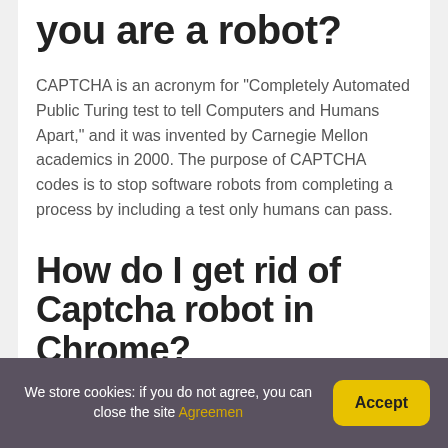you are a robot?
CAPTCHA is an acronym for “Completely Automated Public Turing test to tell Computers and Humans Apart,” and it was invented by Carnegie Mellon academics in 2000. The purpose of CAPTCHA codes is to stop software robots from completing a process by including a test only humans can pass.
How do I get rid of Captcha robot in Chrome?
We store cookies: if you do not agree, you can close the site Agreemen